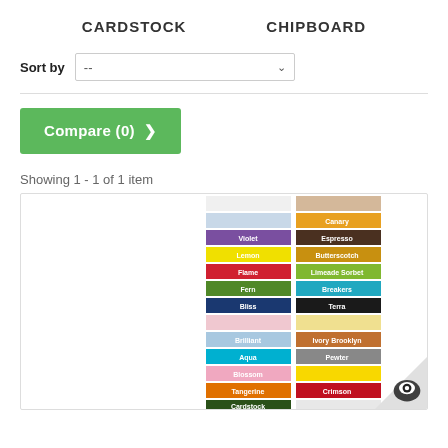CARDSTOCK    CHIPBOARD
Sort by  --
[Figure (other): Green Compare (0) > button]
Showing 1 - 1 of 1 item
[Figure (photo): Colorful cardstock color swatch stack showing various colors including purple, yellow, red, green, blue, pink, orange, and more arranged in two columns]